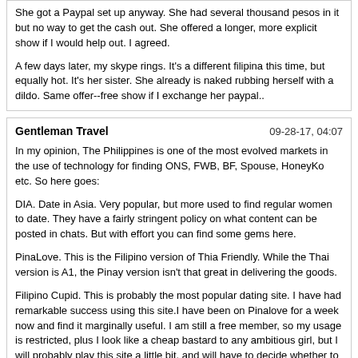She got a Paypal set up anyway. She had several thousand pesos in it but no way to get the cash out. She offered a longer, more explicit show if I would help out. I agreed.

A few days later, my skype rings. It's a different filipina this time, but equally hot. It's her sister. She already is naked rubbing herself with a dildo. Same offer--free show if I exchange her paypal..
Gentleman Travel
09-28-17, 04:07

In my opinion, The Philippines is one of the most evolved markets in the use of technology for finding ONS, FWB, BF, Spouse, HoneyKo etc. So here goes:

DIA. Date in Asia. Very popular, but more used to find regular women to date. They have a fairly stringent policy on what content can be posted in chats. But with effort you can find some gems here.

PinaLove. This is the Filipino version of Thia Friendly. While the Thai version is A1, the Pinay version isn't that great in delivering the goods.

Filipino Cupid. This is probably the most popular dating site. I have had remarkable success using this site.I have been on Pinalove for a week now and find it marginally useful. I am still a free member, so my usage is restricted, plus I look like a cheap bastard to any ambitious girl, but I will probably play this site a little bit, and will have to decide whether to pony up for a real membership. I also joined FilipinoCupid (again, still free at this stage) and it is much more productive. I have well over 100 girls messaging me, but of course I cannot read any of their messages without paying. Half the messages are obviously no good (too old, wrong location) but the other half might be possible.

But I am still 2 months away from coming, so much too early to work on qualifying prospects. I knew this, but wanted to get a feel for the web-sites. Now I need to shut down my profile and be patient until I am closer to my travel time. But nice to know FC will present many reasonable prospects. Plus it is easy to see now what some of you are saying about identifying the pros.